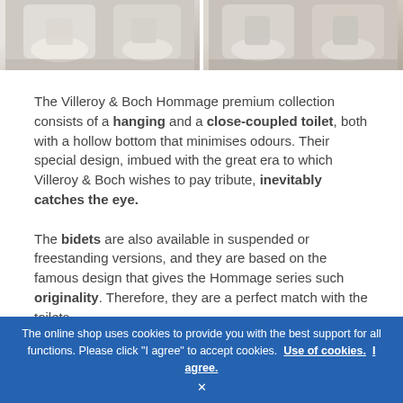[Figure (photo): Two side-by-side product photos of Villeroy & Boch Hommage toilets/bidets in bathroom settings]
The Villeroy & Boch Hommage premium collection consists of a hanging and a close-coupled toilet, both with a hollow bottom that minimises odours. Their special design, imbued with the great era to which Villeroy & Boch wishes to pay tribute, inevitably catches the eye.
The bidets are also available in suspended or freestanding versions, and they are based on the famous design that gives the Hommage series such originality. Therefore, they are a perfect match with the toilets.
The online shop uses cookies to provide you with the best support for all functions. Please click "I agree" to accept cookies. Use of cookies. I agree. ×